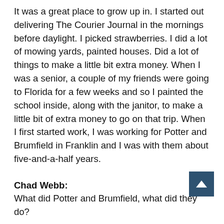It was a great place to grow up in. I started out delivering The Courier Journal in the mornings before daylight. I picked strawberries. I did a lot of mowing yards, painted houses. Did a lot of things to make a little bit extra money. When I was a senior, a couple of my friends were going to Florida for a few weeks and so I painted the school inside, along with the janitor, to make a little bit of extra money to go on that trip. When I first started work, I was working for Potter and Brumfield in Franklin and I was with them about five-and-a-half years.
Chad Webb: What did Potter and Brumfield, what did they do?